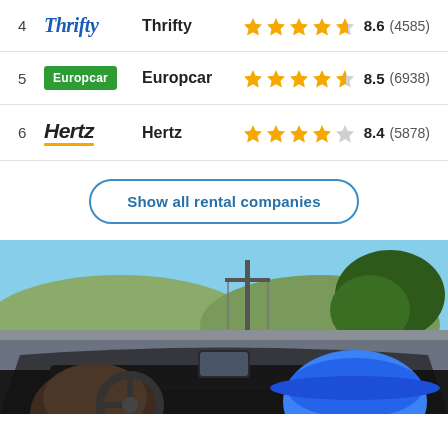4 Thrifty 8.6 (4585)
5 Europcar 8.5 (6938)
6 Hertz 8.4 (5878)
Show all rental companies
[Figure (photo): Two people in an open-top convertible car driving on a road, viewed from inside the car. Trees and a telephone pole visible outside.]